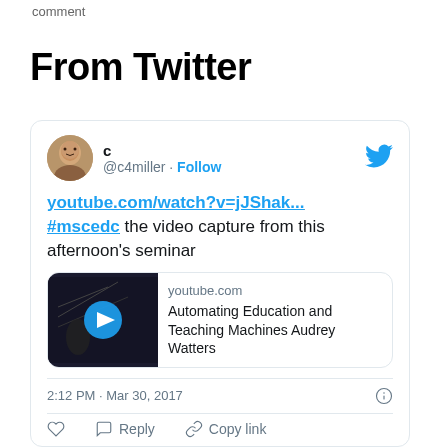comment
From Twitter
[Figure (screenshot): Embedded tweet from @c4miller with link to youtube.com/watch?v=jJShak... #mscedc the video capture from this afternoon's seminar, with YouTube preview card showing 'Automating Education and Teaching Machines Audrey Watters', posted at 2:12 PM · Mar 30, 2017]